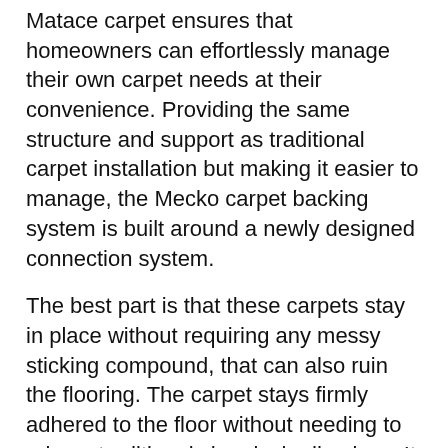Matace carpet ensures that homeowners can effortlessly manage their own carpet needs at their convenience. Providing the same structure and support as traditional carpet installation but making it easier to manage, the Mecko carpet backing system is built around a newly designed connection system.
The best part is that these carpets stay in place without requiring any messy sticking compound, that can also ruin the flooring. The carpet stays firmly adhered to the floor without needing to rely on traditional chemical adhesives. It is all in the system with no base needed. As a DIY-friendly option for traditional carpets, the Matace Removable Carpet also lets customers save thousands of bucks required by empowering them to handle the maintenance and installation themselves without needing a professional. To encapsulate, with their eco-friendly nature, these carpets are truly a game-changer to facilitate sustainability.